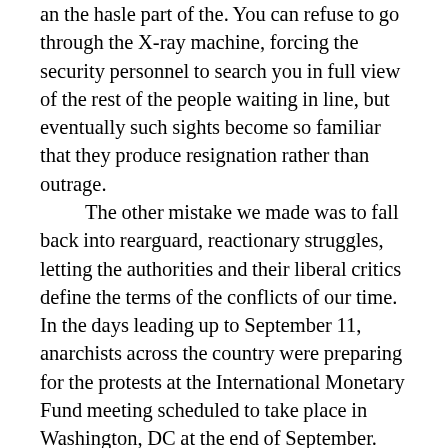an the hasle part of the. You can refuse to go through the X-ray machine, forcing the security personnel to search you in full view of the rest of the people waiting in line, but eventually such sights become so familiar that they produce resignation rather than outrage. The other mistake we made was to fall back into rearguard, reactionary struggles, letting the authorities and their liberal critics define the terms of the conflicts of our time. In the days leading up to September 11, anarchists across the country were preparing for the protests at the International Monetary Fund meeting scheduled to take place in Washington, DC at the end of September. When the attacks occurred and that meeting was cancelled, some people went forward with what became the first anti-war protests—but as with the COP 21 protests, they were smaller and less fierce than they would have been otherwise. Liberal organizers took advantage of the opportunity to make an argument against confrontational tactics, and for the most part